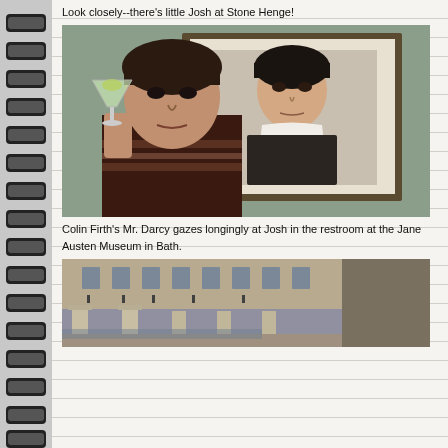Look closely--there's little Josh at Stone Henge!
[Figure (photo): Man holding a martini glass posing in front of a framed portrait painting of Colin Firth as Mr. Darcy in a museum restroom]
Colin Firth's Mr. Darcy gazes longingly at Josh in the restroom at the Jane Austen Museum in Bath.
[Figure (photo): Interior courtyard of the Roman Baths in Bath, England, showing columns and a historic building facade]